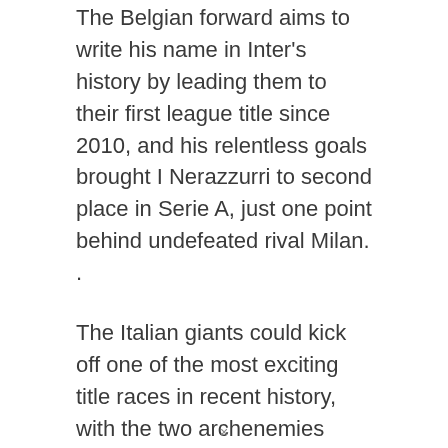The Belgian forward aims to write his name in Inter's history by leading them to their first league title since 2010, and his relentless goals brought I Nerazzurri to second place in Serie A, just one point behind undefeated rival Milan. .
The Italian giants could kick off one of the most exciting title races in recent history, with the two archenemies facing off, while reigning champion Juventus tries to climb the table from sixth place.
Whatever happens, Inter will need Lukaku in his devastating prime to take over the Scudetto.
×